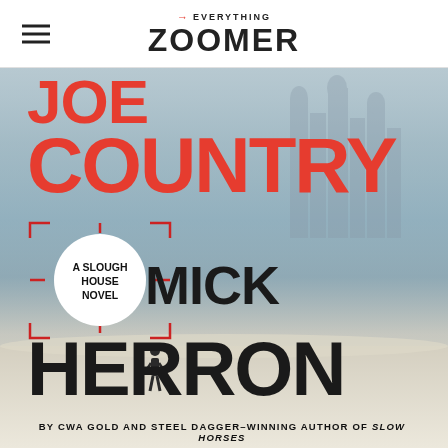→ EVERYTHING ZOOMER
[Figure (photo): Book cover of 'Joe Country: A Slough House Novel' by Mick Herron. Title 'COUNTRY' in large red letters at the top, author name 'MICK HERRON' in large black letters below, with a circular badge reading 'A SLOUGH HOUSE NOVEL'. Wintry atmospheric background. Tagline at bottom: BY CWA GOLD AND STEEL DAGGER–WINNING AUTHOR OF SLOW HORSES.]